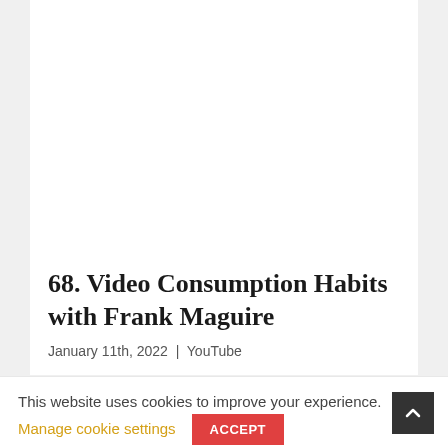[Figure (other): White image/video placeholder area at top of card]
68. Video Consumption Habits with Frank Maguire
January 11th, 2022  |  YouTube
This website uses cookies to improve your experience.
Manage cookie settings
ACCEPT